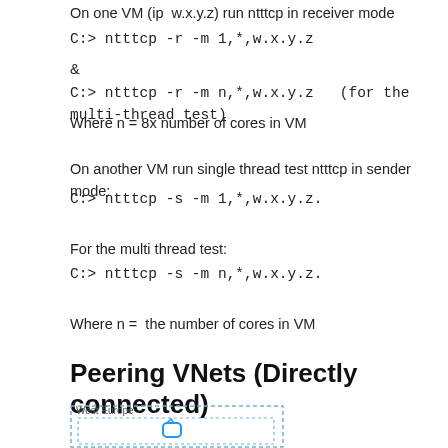On one VM (ip  w.x.y.z) run ntttcp in receiver mode
C:> ntttcp -r -m 1,*,w.x.y.z
&
C:> ntttcp -r -m n,*,w.x.y.z   (for the multi-thread test)
Where n = 8x number of cores in VM
On another VM run single thread test ntttcp in sender mode:
C:> ntttcp -s -m 1,*,w.x.y.z.
For the multi thread test:
C:> ntttcp -s -m n,*,w.x.y.z.
Where n =  the number of cores in VM
Peering VNets (Directly connected)
[Figure (engineering-diagram): Diagram showing West Europe region box with a dotted border containing an inner dotted box with a cloud/VM icon]